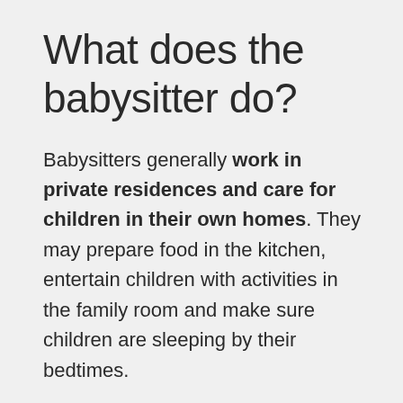What does the babysitter do?
Babysitters generally work in private residences and care for children in their own homes. They may prepare food in the kitchen, entertain children with activities in the family room and make sure children are sleeping by their bedtimes.
What's the difference between childminding